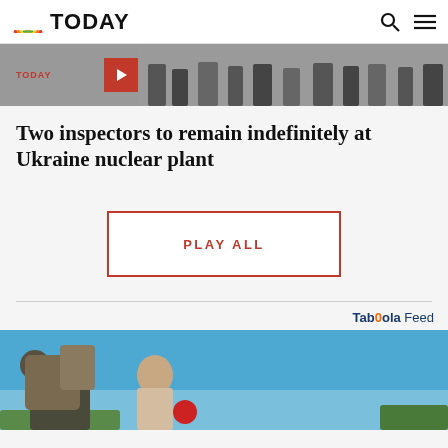TODAY
[Figure (screenshot): Video thumbnail strip showing people's feet/legs with a red play button and TODAY label]
Two inspectors to remain indefinitely at Ukraine nuclear plant
[Figure (other): PLAY ALL button with red border]
Taboola Feed
[Figure (photo): Photo of a person carrying something against blue sky background]